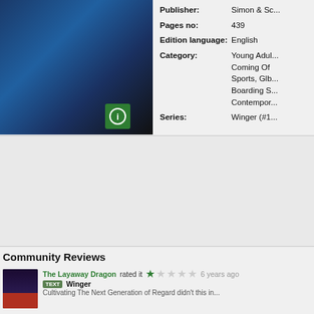[Figure (photo): Book cover image with dark blue and black tones, partially visible]
Publisher: Simon & Sc...
Pages no: 439
Edition language: English
Category: Young Adult, Coming Of, Sports, Glb, Boarding S, Contempor...
Series: Winger (#1...)
Community Reviews
The Layaway Dragon rated it  6 years ago
TEXT Winger
Cultivating The Next Generation of Regard — didn't this in...